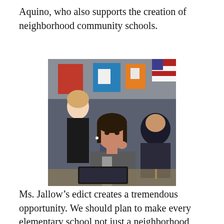Aquino, who also supports the creation of neighborhood community schools.
[Figure (photo): A classroom scene showing students seated at desks. In the foreground, a young girl with dark hair looks attentive. Behind her, a teacher in black stands, and another student in a hijab sits to the right. Colorful bulletin boards and an American flag are visible in the background.]
Ms. Jallow’s edict creates a tremendous opportunity. We should plan to make every elementary school not just a neighborhood school, but a community school with the full range of services from the City, County and community partners. I will seek to work with all involved to